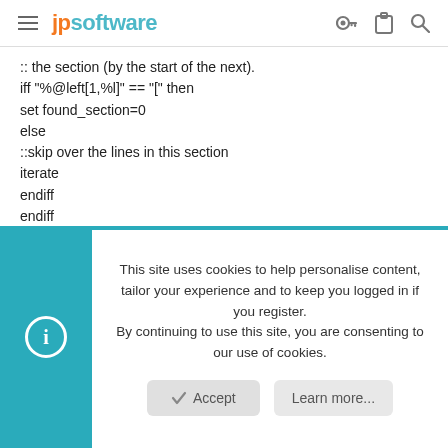jpsoftware
:: the section (by the start of the next).
iff "%@left[1,%l]" == "[" then
set found_section=0
else
::skip over the lines in this section
iterate
endiff
endiff
:: If we find the section name then turn on
:: the flag that tells us to not copy those lines
iff %l == [%2] then
set found_section=1
iterate
This site uses cookies to help personalise content, tailor your experience and to keep you logged in if you register.
By continuing to use this site, you are consenting to our use of cookies.